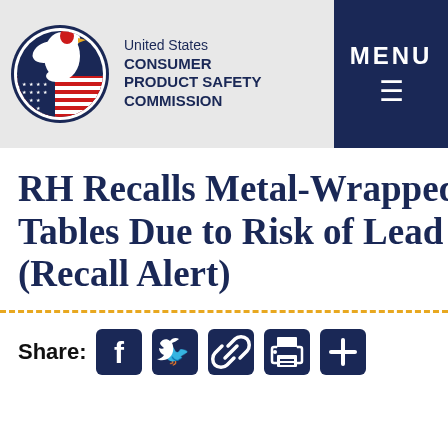United States CONSUMER PRODUCT SAFETY COMMISSION
RH Recalls Metal-Wrapped Coffee Tables Due to Risk of Lead Exposure (Recall Alert)
Share: